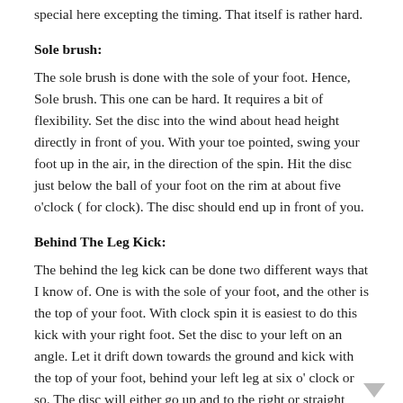special here excepting the timing. That itself is rather hard.
Sole brush:
The sole brush is done with the sole of your foot. Hence, Sole brush. This one can be hard. It requires a bit of flexibility. Set the disc into the wind about head height directly in front of you. With your toe pointed, swing your foot up in the air, in the direction of the spin. Hit the disc just below the ball of your foot on the rim at about five o'clock ( for clock). The disc should end up in front of you.
Behind The Leg Kick:
The behind the leg kick can be done two different ways that I know of. One is with the sole of your foot, and the other is the top of your foot. With clock spin it is easiest to do this kick with your right foot. Set the disc to your left on an angle. Let it drift down towards the ground and kick with the top of your foot, behind your left leg at six o' clock or so. The disc will either go up and to the right or straight forward. It depends on where you hit it. I find that depending upon the wind it is sometimes easier to jump then kick. Be careful not to